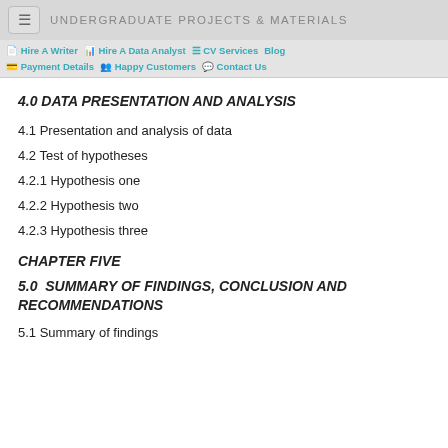UNDERGRADUATE PROJECTS & MATERIALS
4.0 DATA PRESENTATION AND ANALYSIS
4.1 Presentation and analysis of data
4.2 Test of hypotheses
4.2.1 Hypothesis one
4.2.2 Hypothesis two
4.2.3 Hypothesis three
CHAPTER FIVE
5.0 SUMMARY OF FINDINGS, CONCLUSION AND RECOMMENDATIONS
5.1 Summary of findings